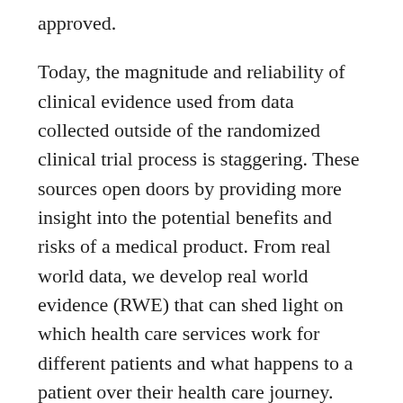approved.
Today, the magnitude and reliability of clinical evidence used from data collected outside of the randomized clinical trial process is staggering. These sources open doors by providing more insight into the potential benefits and risks of a medical product. From real world data, we develop real world evidence (RWE) that can shed light on which health care services work for different patients and what happens to a patient over their health care journey.
While, in theory, this may seem straightforward, there is no clear or standardized way to convert real world data to real world evidence. Further complicating this are the inherent shortcomings of RWD, such as limited fitness when captured at